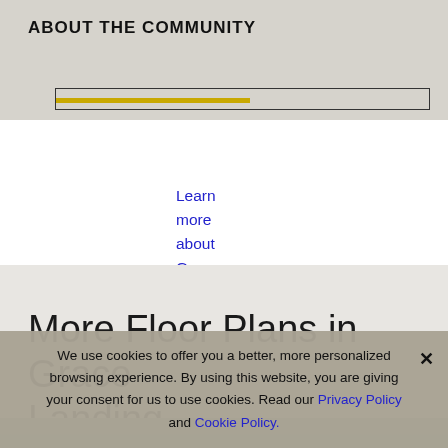ABOUT THE COMMUNITY
Learn more about Grace Landing ›
More Floor Plans in Grace Landing
[Figure (photo): Partial image strip of outdoor/landscape scene at bottom of gray section]
We use cookies to offer you a better, more personalized browsing experience. By using this website, you are giving your consent for us to use cookies. Read our Privacy Policy and Cookie Policy.